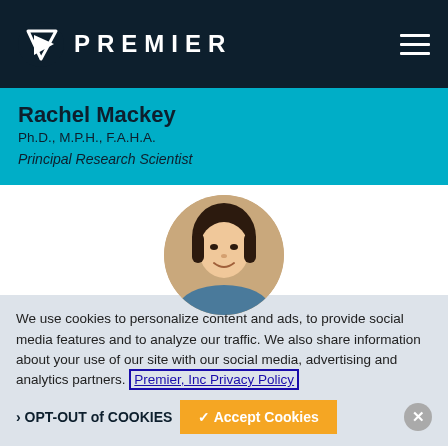PREMIER
Rachel Mackey
Ph.D., M.P.H., F.A.H.A.
Principal Research Scientist
[Figure (photo): Circular headshot photo of Rachel Mackey, a woman with short dark hair, smiling]
We use cookies to personalize content and ads, to provide social media features and to analyze our traffic. We also share information about your use of our site with our social media, advertising and analytics partners. Premier, Inc Privacy Policy
OPT-OUT of COOKIES
Accept Cookies